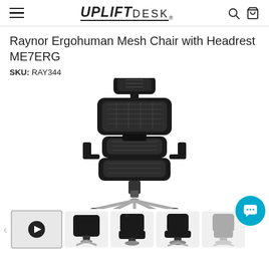UPLIFT DESK
Raynor Ergohuman Mesh Chair with Headrest ME7ERG
SKU: RAY344
[Figure (photo): Front-facing black mesh ergonomic office chair with headrest, adjustable armrests, lumbar support, and chrome five-star base with casters]
[Figure (photo): Thumbnail row: video play button thumbnail, and four smaller product angle photos of the chair]